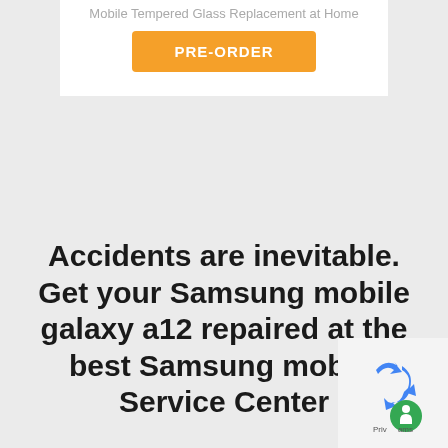Mobile Tempered Glass Replacement at Home
[Figure (other): Orange PRE-ORDER button]
Accidents are inevitable. Get your Samsung mobile galaxy a12 repaired at the best Samsung mobile Service Center
[Figure (other): reCAPTCHA privacy badge with blue arrow icon and green circle with white figure, text reads 'Privacy - Terms']